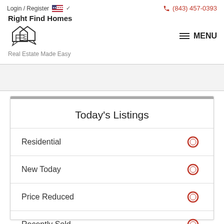Login / Register  (843) 457-0393  Right Find Homes  Real Estate Made Easy  MENU
[Figure (logo): Right Find Homes logo: two overlapping house speech bubble shapes with a building icon inside]
Today's Listings
Residential
New Today
Price Reduced
Recently Sold